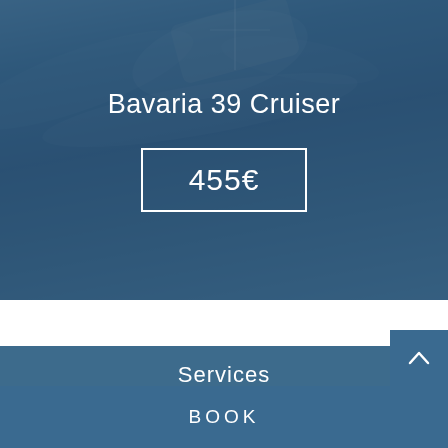[Figure (photo): Aerial/top-down view of a sailboat (Bavaria 39 Cruiser) on blue ocean water, with a blue semi-transparent overlay showing the boat name and price.]
Bavaria 39 Cruiser
455€
Services
Rental: Boat Rental Yatch Rental
BOOK